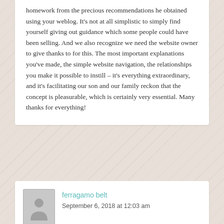homework from the precious recommendations he obtained using your weblog. It's not at all simplistic to simply find yourself giving out guidance which some people could have been selling. And we also recognize we need the website owner to give thanks to for this. The most important explanations you've made, the simple website navigation, the relationships you make it possible to instill – it's everything extraordinary, and it's facilitating our son and our family reckon that the concept is pleasurable, which is certainly very essential. Many thanks for everything!
ferragamo belt
September 6, 2018 at 12:03 am
I simply wanted to thank you so much once more. I am not sure what I might have undertaken in the absence of those thoughts revealed by you about this situation. This has been a terrifying scenario for me personally,